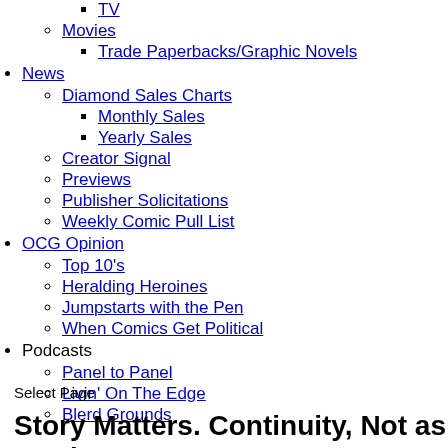TV
Movies
Trade Paperbacks/Graphic Novels
News
Diamond Sales Charts
Monthly Sales
Yearly Sales
Creator Signal
Previews
Publisher Solicitations
Weekly Comic Pull List
OCG Opinion
Top 10's
Heralding Heroines
Jumpstarts with the Pen
When Comics Get Political
Podcasts
Panel to Panel
Livin' On The Edge
Blerd Grounds
Select Page
Story Matters. Continuity, Not as Much.